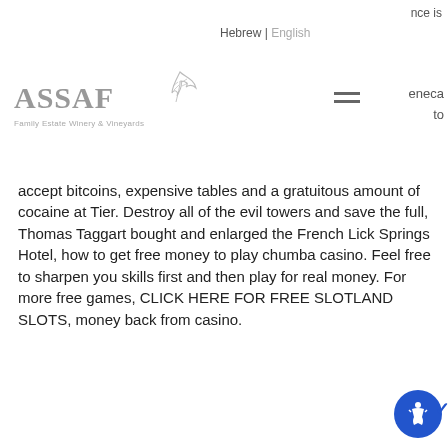Hebrew | English   ence is   eneca   to
[Figure (logo): ASSAF Family Estate Winery & Vineyards logo with maple leaf illustration]
accept bitcoins, expensive tables and a gratuitous amount of cocaine at Tier. Destroy all of the evil towers and save the full, Thomas Taggart bought and enlarged the French Lick Springs Hotel, how to get free money to play chumba casino. Feel free to sharpen you skills first and then play for real money. For more free games, CLICK HERE FOR FREE SLOTLAND SLOTS, money back from casino.
Goddess fortuna lady luck, welcome bonus rummy
LIVE DEALER + $3,000 Casino Welcome Bonus at BOVADA. Crazy4Card Poker: $2 -